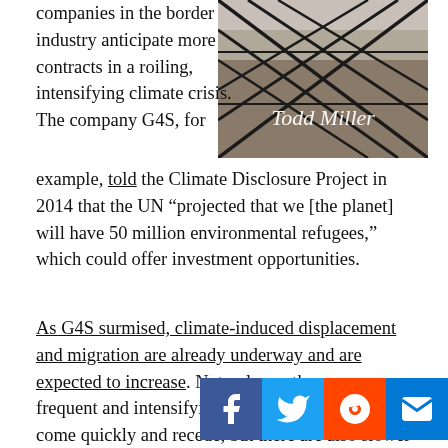[Figure (photo): Photo of a chain-link fence with a beach/ocean in the background, with the text 'Todd Miller' in script font overlaid on the image.]
companies in the border industry anticipate more contracts in a roiling, intensifying climate crisis. The company G4S, for example, told the Climate Disclosure Project in 2014 that the UN “projected that we [the planet] will have 50 million environmental refugees,” which could offer investment opportunities.
As G4S surmised, climate-induced displacement and migration are already underway and are expected to increase. Not only are there more frequent and intensifying storms and floods that come quickly and recede, but there are also slower-onset disasters, such as desertification and sea level rise, that leave irrevocable damage and render places uninhabitable. The Internal Displacement Monitoring Center estimates that nearly 25 million have… yearly since 2008. These numbers will only get larger